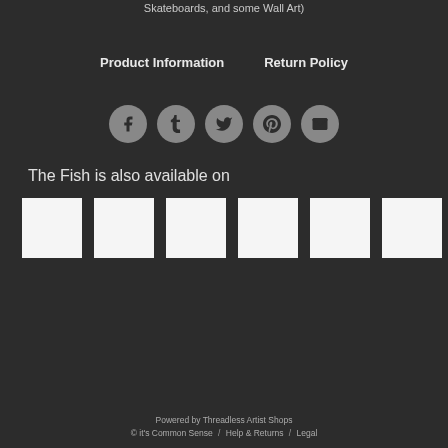Skateboards, and some Wall Art)
Product Information   Return Policy
[Figure (other): Social media share icons: Facebook, Tumblr, Twitter, Pinterest, Email]
The Fish is also available on
[Figure (other): Six white thumbnail product image squares]
Powered by Threadless Artist Shops
© it's Common Sense  /  Help & Returns  /  Legal